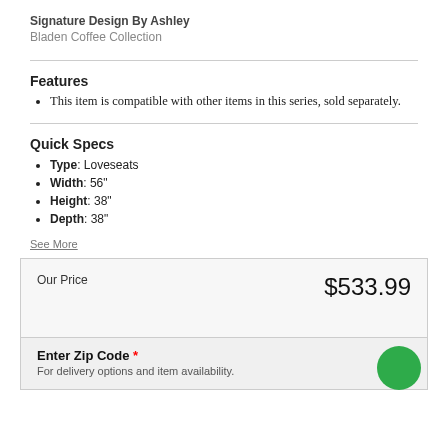Signature Design By Ashley
Bladen Coffee Collection
Features
This item is compatible with other items in this series, sold separately.
Quick Specs
Type: Loveseats
Width: 56"
Height: 38"
Depth: 38"
See More
Our Price   $533.99
Enter Zip Code * For delivery options and item availability.